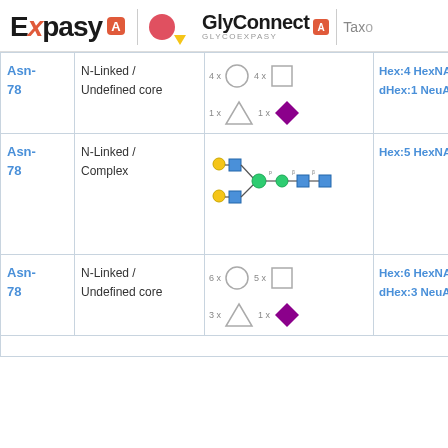Expasy | GlyConnect GLYCOEXPASY
| Site | Type | Structure | Composition |
| --- | --- | --- | --- |
| Asn-78 | N-Linked / Undefined core | 4x circle 4x square | 1x triangle 1x diamond | Hex:4 HexNAc:4 dHex:1 NeuAc:1 |
| Asn-78 | N-Linked / Complex | [glycan structure diagram] | Hex:5 HexNAc:4 |
| Asn-78 | N-Linked / Undefined core | 6x circle 5x square | 3x triangle 1x diamond | Hex:6 HexNAc:5 dHex:3 NeuAc:1 |